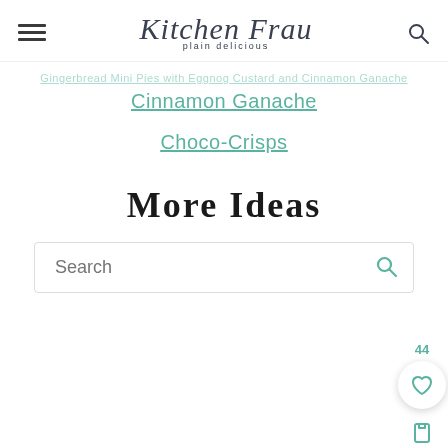Kitchen Frau — plain delicious
Gingerbread Mini Pies with Eggnog Custard and Cinnamon Ganache
Choco-Crisps
More Ideas
Search